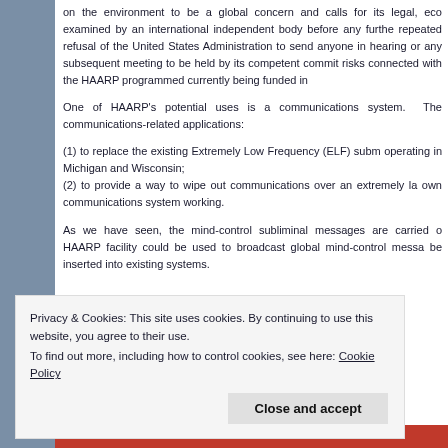on the environment to be a global concern and calls for its legal, eco examined by an international independent body before any furthe repeated refusal of the United States Administration to send anyone in hearing or any subsequent meeting to be held by its competent commit risks connected with the HAARP programmed currently being funded in
One of HAARP's potential uses is a communications system. The communications-related applications:
(1) to replace the existing Extremely Low Frequency (ELF) subm operating in Michigan and Wisconsin;
(2) to provide a way to wipe out communications over an extremely la own communications system working.
As we have seen, the mind-control subliminal messages are carried o HAARP facility could be used to broadcast global mind-control messa be inserted into existing systems.
Privacy & Cookies: This site uses cookies. By continuing to use this website, you agree to their use.
To find out more, including how to control cookies, see here: Cookie Policy